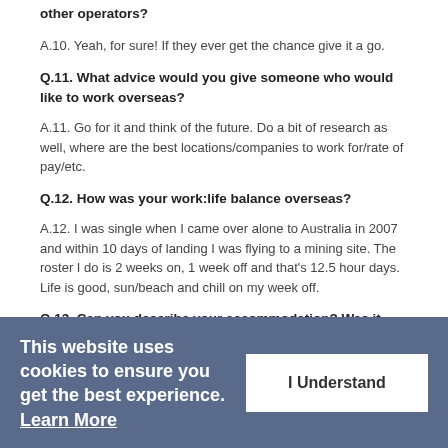other operators?
A.10. Yeah, for sure! If they ever get the chance give it a go.
Q.11. What advice would you give someone who would like to work overseas?
A.11. Go for it and think of the future. Do a bit of research as well, where are the best locations/companies to work for/rate of pay/etc.
Q.12. How was your work:life balance overseas?
A.12. I was single when I came over alone to Australia in 2007 and within 10 days of landing I was flying to a mining site. The roster I do is 2 weeks on, 1 week off and that's 12.5 hour days. Life is good, sun/beach and chill on my week off.
Q.13. Can you describe your accommodation? Was it provided for you?
A.13. The camp I work at is a 3000 man camp and you have to stay in a motel which isn't good. The rooms are small you have a single bed, fridge and you share a bathroom bed you are in the camp so you have a gym, pool, tennis court, cricket court and BBQ areas.